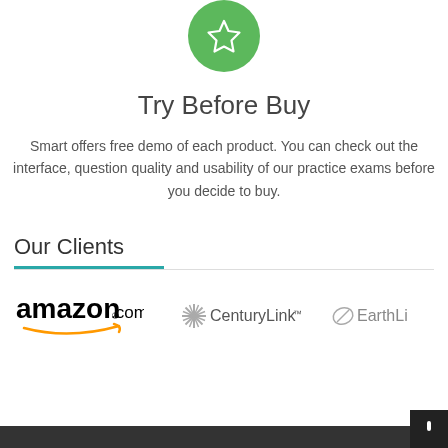[Figure (illustration): Green circle with white star icon]
Try Before Buy
Smart offers free demo of each product. You can check out the interface, question quality and usability of our practice exams before you decide to buy.
Our Clients
[Figure (logo): amazon.com logo with smile arrow underneath]
[Figure (logo): CenturyLink logo with starburst icon]
[Figure (logo): EarthLink logo (partially visible)]